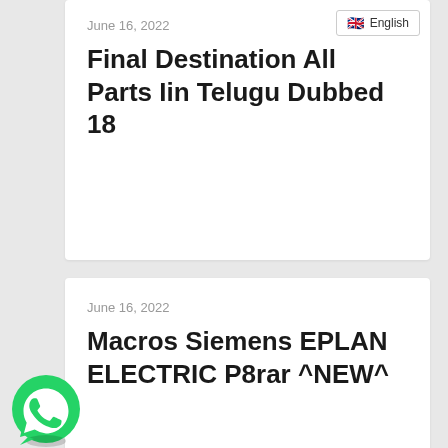June 16, 2022
Final Destination All Parts Iin Telugu Dubbed 18
English
June 16, 2022
Macros Siemens EPLAN ELECTRIC P8rar ^NEW^
[Figure (logo): WhatsApp green logo icon]
June 16, 2022
Viega Viptool Crack